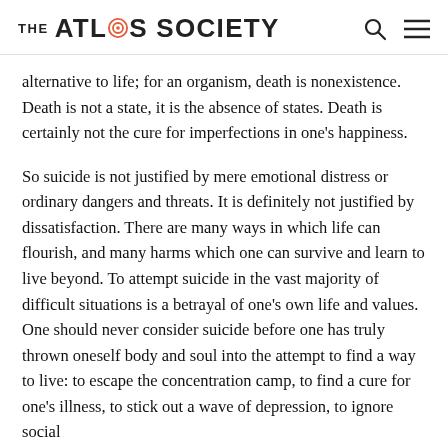THE ATLAS SOCIETY
alternative to life; for an organism, death is nonexistence. Death is not a state, it is the absence of states. Death is certainly not the cure for imperfections in one's happiness.
So suicide is not justified by mere emotional distress or ordinary dangers and threats. It is definitely not justified by dissatisfaction. There are many ways in which life can flourish, and many harms which one can survive and learn to live beyond. To attempt suicide in the vast majority of difficult situations is a betrayal of one's own life and values. One should never consider suicide before one has truly thrown oneself body and soul into the attempt to find a way to live: to escape the concentration camp, to find a cure for one's illness, to stick out a wave of depression, to ignore social